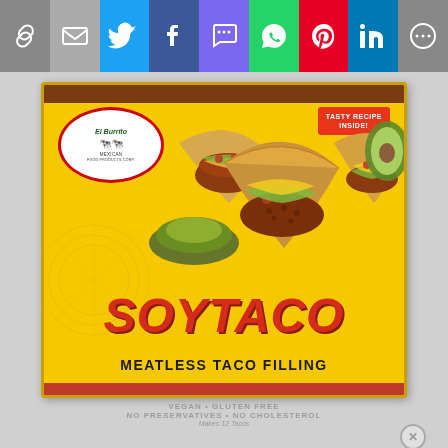[Figure (screenshot): Social media share bar with icons: link, email, Twitter, Facebook, SMS, WhatsApp, Pinterest, LinkedIn, More]
[Figure (photo): El Burrito brand SoyTaco Meatless Taco Filling product box. Yellow box with red and brown accents. Shows tacos filled with meat alternative, shredded cheese, tomatoes, lettuce and guacamole. El Burrito Mexican Food Products logo in oval at top left. 'TASTY RECIPE INSIDE!' badge at top right. Large red italic 'SOYTACO' text and black 'MEATLESS TACO FILLING' text at bottom.]
VEGAN • GLUTEN FREE
NO PRESERVATIVES • NO CHOLESTEROL
Makes 12 Tacos